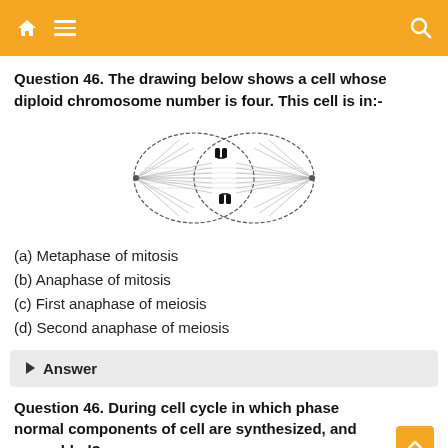Navigation bar with home, menu, and search icons
Question 46. The drawing below shows a cell whose diploid chromosome number is four. This cell is in:-
[Figure (illustration): Biology diagram of a cell in anaphase showing two pairs of chromosomes being pulled to opposite poles by spindle fibers, with the cell having a characteristic figure-eight shape.]
(a) Metaphase of mitosis
(b) Anaphase of mitosis
(c) First anaphase of meiosis
(d) Second anaphase of meiosis
▶ Answer
Question 46. During cell cycle in which phase normal components of cell are synthesized, and assembled?